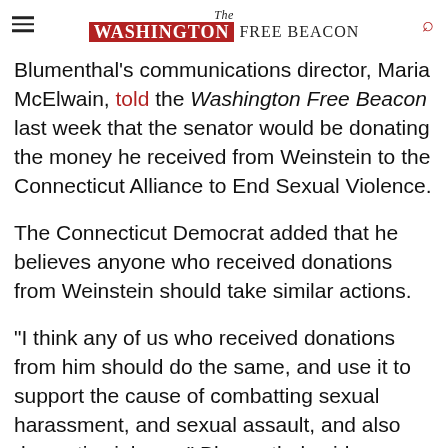The Washington Free Beacon
Blumenthal's communications director, Maria McElwain, told the Washington Free Beacon last week that the senator would be donating the money he received from Weinstein to the Connecticut Alliance to End Sexual Violence.
The Connecticut Democrat added that he believes anyone who received donations from Weinstein should take similar actions.
"I think any of us who received donations from him should do the same, and use it to support the cause of combatting sexual harassment, and sexual assault, and also domestic violence," Blumenthal said.